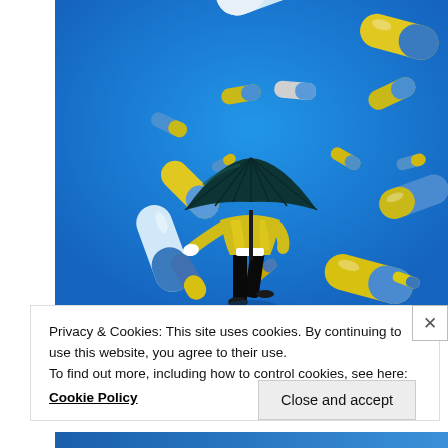[Figure (illustration): Illustration of a person holding a dark umbrella, wearing a yellow jacket, surrounded by falling blue and yellow pharmaceutical capsules/pills raining down against a bright blue background.]
Privacy & Cookies: This site uses cookies. By continuing to use this website, you agree to their use.
To find out more, including how to control cookies, see here:
Cookie Policy
Close and accept